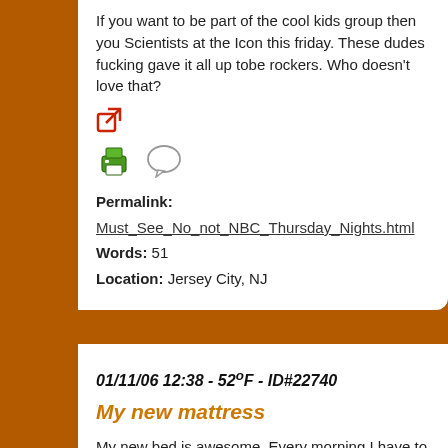If you want to be part of the cool kids group then you Scientists at the Icon this friday. These dudes fucking gave it all up tobe rockers. Who doesn't love that?
[Figure (other): External link icon (red arrow square)]
[Figure (other): Print icon (green printer) and comment icon (speech bubble)]
Permalink: Must_See_No_not_NBC_Thursday_Nights.html
Words: 51
Location: Jersey City, NJ
01/11/06 12:38 - 52ºF - ID#22740
My new mattress
My new bed is awesome. Every morning I have to pry comfort. As my Christmas present to myself I bought:
[Figure (other): External link icon (red arrow square) partially visible at bottom]